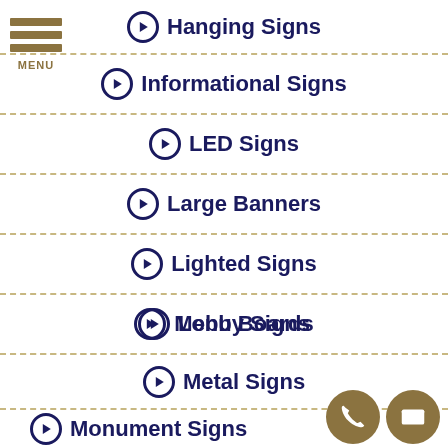Hanging Signs
Informational Signs
LED Signs
Large Banners
Lighted Signs
Lobby Signs
Menu Boards
Metal Signs
Monument Signs